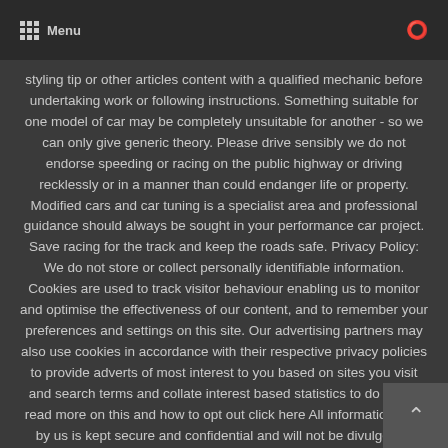Menu
styling tip or other articles content with a qualified mechanic before undertaking work or following instructions. Something suitable for one model of car may be completely unsuitable for another - so we can only give generic theory. Please drive sensibly we do not endorse speeding or racing on the public highway or driving recklessly or in a manner than could endanger life or property. Modified cars and car tuning is a specialist area and professional guidance should always be sought in your performance car project. Save racing for the track and keep the roads safe. Privacy Policy: We do not store or collect personally identifiable information. Cookies are used to track visitor behaviour enabling us to monitor and optimise the effectiveness of our content, and to remember your preferences and settings on this site. Our advertising partners may also use cookies in accordance with their respective privacy policies to provide adverts of most interest to you based on sites you visit and search terms and collate interest based statistics to do so. To read more on this and how to opt out click here All information held by us is kept secure and confidential and will not be divulged to others.